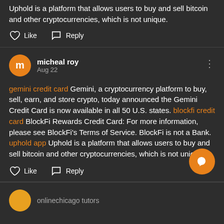Uphold is a platform that allows users to buy and sell bitcoin and other cryptocurrencies, which is not unique.
Like   Reply
micheal roy
Aug 22
gemini credit card Gemini, a cryptocurrency platform to buy, sell, earn, and store crypto, today announced the Gemini Credit Card is now available in all 50 U.S. states. blockfi credit card BlockFi Rewards Credit Card: For more information, please see BlockFi's Terms of Service. BlockFi is not a Bank. uphold app Uphold is a platform that allows users to buy and sell bitcoin and other cryptocurrencies, which is not unique.
Like   Reply
[Figure (other): Orange circular chat/message FAB button]